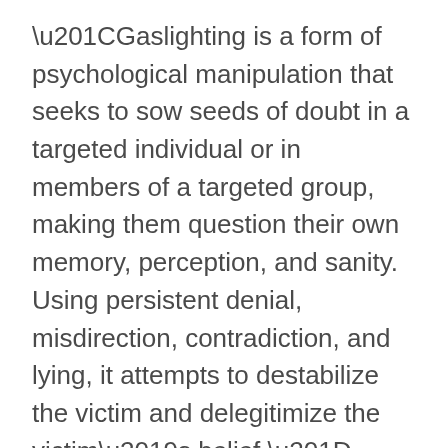“Gaslighting is a form of psychological manipulation that seeks to sow seeds of doubt in a targeted individual or in members of a targeted group, making them question their own memory, perception, and sanity. Using persistent denial, misdirection, contradiction, and lying, it attempts to destabilize the victim and delegitimize the victim’s belief.”
How dare ANY of you try to minimize ANYONE’S experiences and feelings about this retreat. It’s not up to you to decide how someone else feels and